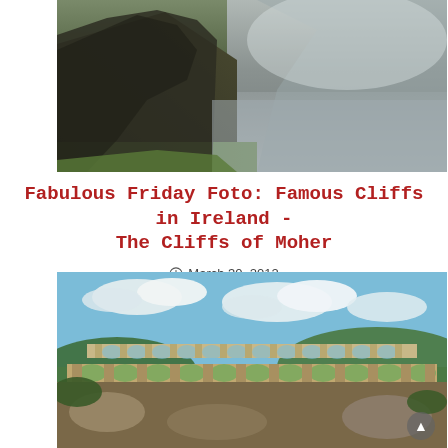[Figure (photo): Photograph of the Cliffs of Moher in Ireland, showing dark rocky cliffs in the foreground with mist and ocean in the background]
Fabulous Friday Foto: Famous Cliffs in Ireland - The Cliffs of Moher
March 30, 2012
[Figure (photo): Photograph of a Roman aqueduct (likely Pont du Gard) with multiple arched tiers against a blue sky with clouds and surrounded by green trees]